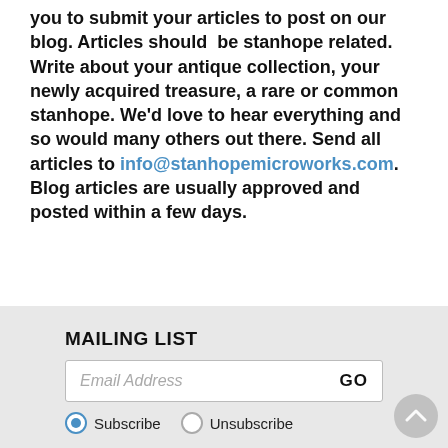you to submit your articles to post on our blog. Articles should be stanhope related. Write about your antique collection, your newly acquired treasure, a rare or common stanhope. We'd love to hear everything and so would many others out there. Send all articles to info@stanhopemicroworks.com. Blog articles are usually approved and posted within a few days.
MAILING LIST
Email Address GO
Subscribe  Unsubscribe